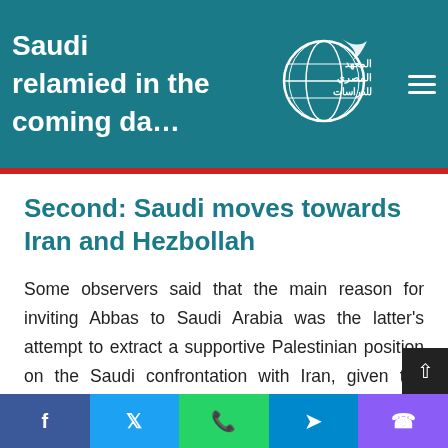Saudi rela… mied in the coming da…
[Figure (logo): Al-Masry Al-Araby Institute for Studies logo with globe and Arabic text المعهد المصري للدراسات]
Second: Saudi moves towards Iran and Hezbollah
Some observers said that the main reason for inviting Abbas to Saudi Arabia was the latter's attempt to extract a supportive Palestinian position on the Saudi confrontation with Iran, given the importance and specificity of the Palestinian position. So Saudi Arabia seeks to
Social share bar: Facebook, Twitter, WhatsApp, Telegram, Phone